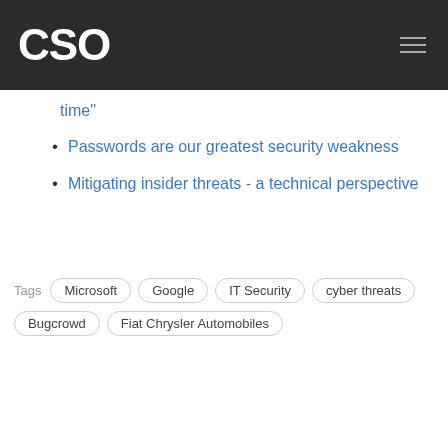CSO
time"
Passwords are our greatest security weakness
Mitigating insider threats - a technical perspective
Tags  Microsoft  Google  IT Security  cyber threats  Bugcrowd  Fiat Chrysler Automobiles